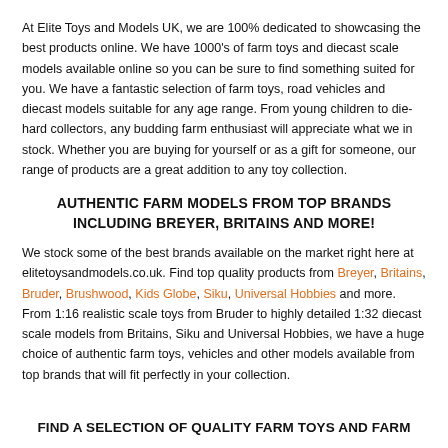At Elite Toys and Models UK, we are 100% dedicated to showcasing the best products online. We have 1000's of farm toys and diecast scale models available online so you can be sure to find something suited for you. We have a fantastic selection of farm toys, road vehicles and diecast models suitable for any age range. From young children to die-hard collectors, any budding farm enthusiast will appreciate what we in stock. Whether you are buying for yourself or as a gift for someone, our range of products are a great addition to any toy collection.
AUTHENTIC FARM MODELS FROM TOP BRANDS INCLUDING BREYER, BRITAINS AND MORE!
We stock some of the best brands available on the market right here at elitetoysandmodels.co.uk. Find top quality products from Breyer, Britains, Bruder, Brushwood, Kids Globe, Siku, Universal Hobbies and more. From 1:16 realistic scale toys from Bruder to highly detailed 1:32 diecast scale models from Britains, Siku and Universal Hobbies, we have a huge choice of authentic farm toys, vehicles and other models available from top brands that will fit perfectly in your collection.
FIND A SELECTION OF QUALITY FARM TOYS AND FARM